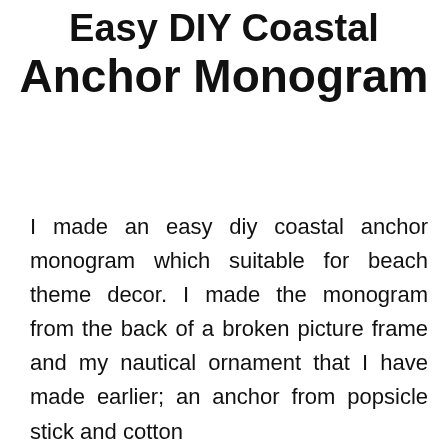Easy DIY Coastal Anchor Monogram
I made an easy diy coastal anchor monogram which suitable for beach theme decor. I made the monogram from the back of a broken picture frame and my nautical ornament that I have made earlier; an anchor from popsicle stick and cotton